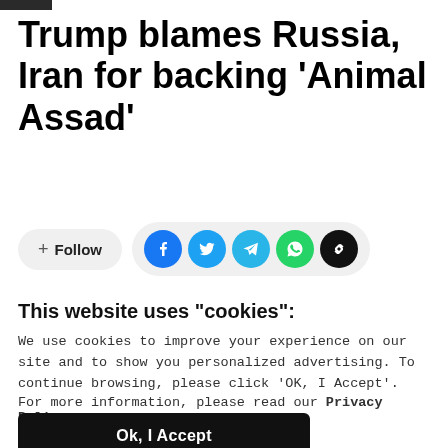Trump blames Russia, Iran for backing 'Animal Assad'
[Figure (infographic): Follow button and social share icons row: Follow button, Facebook, Twitter, Telegram, WhatsApp, Link icons]
This website uses "cookies":
We use cookies to improve your experience on our site and to show you personalized advertising. To continue browsing, please click 'OK, I Accept'.
For more information, please read our Privacy Policy
Ok, I Accept